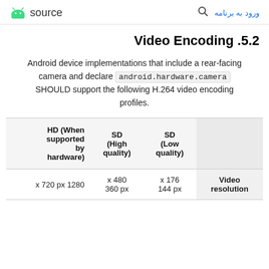ورود به برنامه [search icon] [Android logo] source
5.2. Video Encoding
Android device implementations that include a rear-facing camera and declare android.hardware.camera SHOULD support the following H.264 video encoding profiles.
| Video resolution | SD (Low quality) | SD (High quality) | HD (When supported by hardware) |
| --- | --- | --- | --- |
| Video resolution | x 176
144 px | x 480
360 px | x 720 px 1280 |